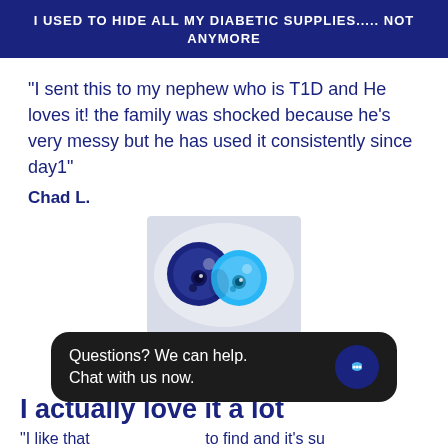I USED TO HIDE ALL MY DIABETIC SUPPLIES..... NOT ANYMORE
"I sent this to my nephew who is T1D and He loves it! the family was shocked because he's very messy but he has used it consistently since day1"
Chad L.
[Figure (photo): Product photo showing two circular blue diabetic supply cases on a white background]
BLOT
★★★★★
I actually love it a lot
"I like that it's easy to find and it's sup interesting way to hold all my supplies rather
Questions? We can help. Chat with us now.